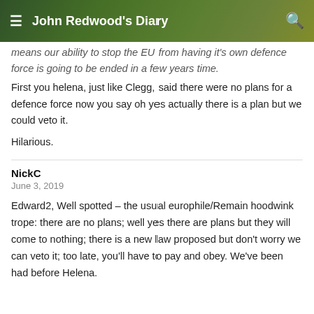John Redwood's Diary
means our ability to stop the EU from having it's own defence force is going to be ended in a few years time.
First you helena, just like Clegg, said there were no plans for a defence force now you say oh yes actually there is a plan but we could veto it.
Hilarious.
NickC
June 3, 2019
Edward2, Well spotted – the usual europhile/Remain hoodwink trope: there are no plans; well yes there are plans but they will come to nothing; there is a new law proposed but don't worry we can veto it; too late, you'll have to pay and obey. We've been had before Helena.